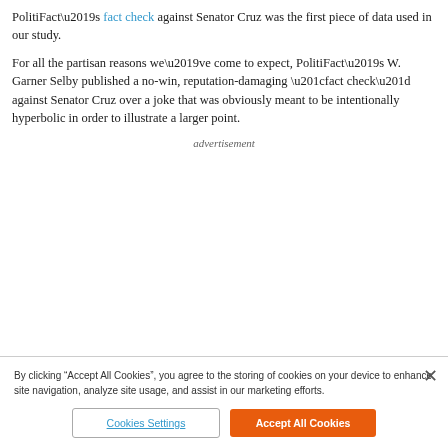PolitiFact’s fact check against Senator Cruz was the first piece of data used in our study.
For all the partisan reasons we’ve come to expect, PolitiFact’s W. Garner Selby published a no-win, reputation-damaging “fact check” against Senator Cruz over a joke that was obviously meant to be intentionally hyperbolic in order to illustrate a larger point.
advertisement
By clicking “Accept All Cookies”, you agree to the storing of cookies on your device to enhance site navigation, analyze site usage, and assist in our marketing efforts.